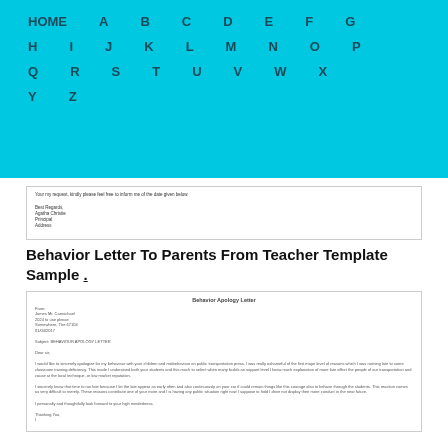HOME  A  B  C  D  E  F  G  H  I  J  K  L  M  N  O  P  Q  R  S  T  U  V  W  X  Y  Z
[Figure (screenshot): Partial preview of a letter with sign-off: Best Regards, Agatha Christie, Principal, Address]
Behavior Letter To Parents From Teacher Template Sample .
[Figure (screenshot): Preview of a Behavior Apology Letter document with From address, Subject: BEHAVIOUR APOLOGY LETTER, Dear Sir, and body paragraphs with apology text.]